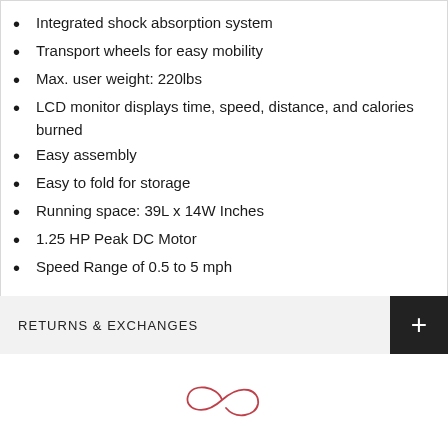Integrated shock absorption system
Transport wheels for easy mobility
Max. user weight: 220lbs
LCD monitor displays time, speed, distance, and calories burned
Easy assembly
Easy to fold for storage
Running space: 39L x 14W Inches
1.25 HP Peak DC Motor
Speed Range of 0.5 to 5 mph
RETURNS & EXCHANGES
[Figure (logo): Decorative infinity/loop script logo in red/pink outline]